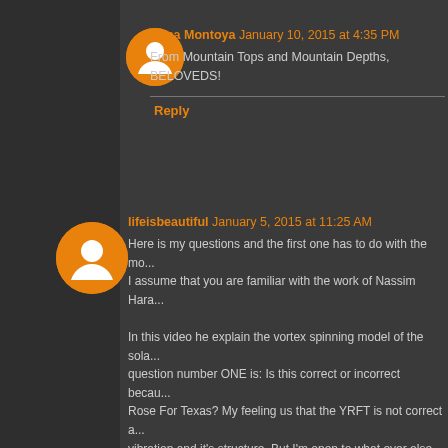Rima Montoya  January 10, 2015 at 4:35 PM
From Mountain Tops and Mountain Depths, BELOVEDS!
Reply
lifeisbeautiful  January 5, 2015 at 11:25 AM
Here is my questions and the first one has to do with the mo... I assume that you are familiar with the work of Nassim Hara... In this video he explain the vortex spinning model of the sola... question number ONE is: Is this correct or incorrect becau... Rose For Texas? My feeling us that the YRFT is not correct a... vibration and it's structure. But I'm open to what ever else... when FULL DISCLOSERE being done. For my part and the... TO EMBRACE is to let go of the illusion of separation that d... not to the so "called outside" ( or the outer world. Everythi... being manifested by the vibartional stated from within and... person has been taugh and embraced. Further that the rea... energy as there is only one source which is the source of a... which within all things and found everywher,...as you might... Scarlet Johanson, and the endscene So for my part it fe...